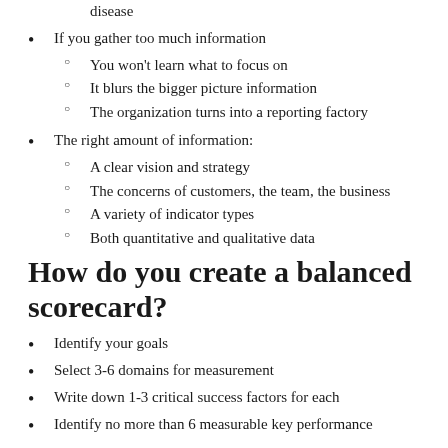disease
If you gather too much information
You won't learn what to focus on
It blurs the bigger picture information
The organization turns into a reporting factory
The right amount of information:
A clear vision and strategy
The concerns of customers, the team, the business
A variety of indicator types
Both quantitative and qualitative data
How do you create a balanced scorecard?
Identify your goals
Select 3-6 domains for measurement
Write down 1-3 critical success factors for each
Identify no more than 6 measurable key performance